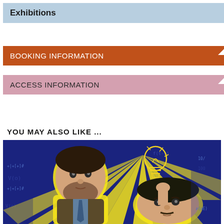Exhibitions
BOOKING INFORMATION
ACCESS INFORMATION
YOU MAY ALSO LIKE ...
[Figure (photo): Two men posing in front of a colorful graphic background featuring mathematical equations, formulas on a blue background with yellow starburst rays. One man holds up a lightbulb drawing above the other man's head.]